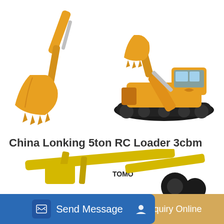[Figure (photo): Orange excavator bucket attachment on the left and an orange tracked excavator on the right, product images for China Lonking wheel loader listing]
China Lonking 5ton RC Loader 3cbm Wheel Loader Cdm856 for
China Lonking 5ton RC Loader 3cbm Wheel Loader Cdm856 for Sale, Find details about China 5 Ton Wheel Loader, New Loader for Sale from Lonking 5ton RC Loader 3cbm Wheel...
[Figure (photo): Yellow construction machinery / excavator partially visible at bottom of page]
Send Message | Inquiry Online